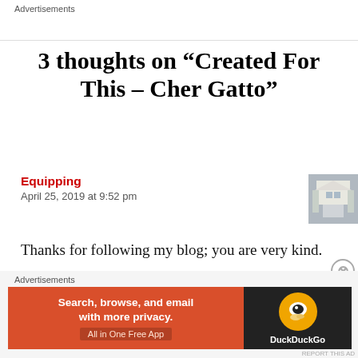3 thoughts on “Created For This – Cher Gatto”
Equipping
April 25, 2019 at 9:52 pm
Thanks for following my blog; you are very kind.
Like
[Figure (photo): Small thumbnail photo of a white building with columns]
Advertisements
[Figure (screenshot): DuckDuckGo advertisement banner: Search, browse, and email with more privacy. All in One Free App. DuckDuckGo logo on dark background.]